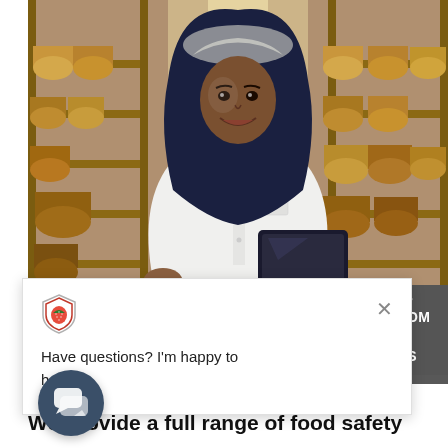[Figure (photo): A woman wearing a hijab and white lab coat holding a tablet, standing in a cheese aging warehouse with rounds of cheese on wooden shelves in the background. She wears a hairnet and smiles at camera.]
DIANS CUSTOM ROL PLANS
Have questions? I'm happy to help.
We provide a full range of food safety